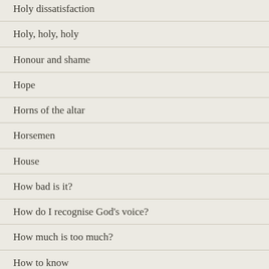Holy dissatisfaction
Holy, holy, holy
Honour and shame
Hope
Horns of the altar
Horsemen
House
How bad is it?
How do I recognise God's voice?
How much is too much?
How to know
How to see
Humble Christians